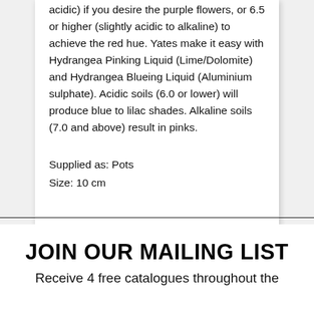acidic) if you desire the purple flowers, or 6.5 or higher (slightly acidic to alkaline) to achieve the red hue. Yates make it easy with Hydrangea Pinking Liquid (Lime/Dolomite) and Hydrangea Blueing Liquid (Aluminium sulphate). Acidic soils (6.0 or lower) will produce blue to lilac shades. Alkaline soils (7.0 and above) result in pinks.
Supplied as: Pots
Size: 10 cm
JOIN OUR MAILING LIST
Receive 4 free catalogues throughout the